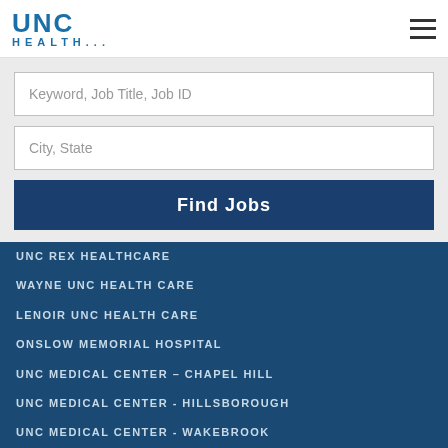UNC HEALTH
Keyword, Job Title, Job ID
City, State
Find Jobs
UNC REX HEALTHCARE
WAYNE UNC HEALTH CARE
LENOIR UNC HEALTH CARE
ONSLOW MEMORIAL HOSPITAL
UNC MEDICAL CENTER – CHAPEL HILL
UNC MEDICAL CENTER - HILLSBOROUGH
UNC MEDICAL CENTER - WAKEBROOK
PARDEE HOSPITAL
JOHNSTON HEALTH